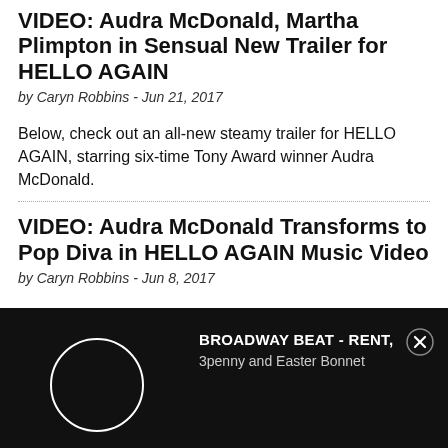VIDEO: Audra McDonald, Martha Plimpton in Sensual New Trailer for HELLO AGAIN
by Caryn Robbins - Jun 21, 2017
Below, check out an all-new steamy trailer for HELLO AGAIN, starring six-time Tony Award winner Audra McDonald.
VIDEO: Audra McDonald Transforms to Pop Diva in HELLO AGAIN Music Video
by Caryn Robbins - Jun 8, 2017
Six-time Tony Award winner Audra McDonald is transformed into a pop diva in the new music video for the song “Beyond the Moon,” from the upcoming film HELLO AGAIN. The song was written specifically for McDonald for the film
[Figure (screenshot): Black ad bar at bottom with white circle/play button icon on left, text 'BROADWAY BEAT - RENT, 3penny and Easter Bonnet' in white/grey, and a close (X) button on the right.]